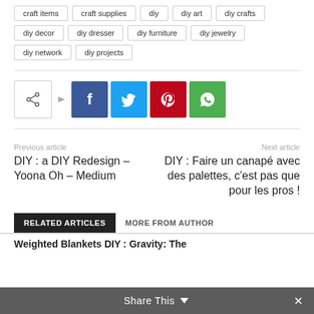craft items
craft supplies
diy
diy art
diy crafts
diy decor
diy dresser
diy furniture
diy jewelry
diy network
diy projects
[Figure (infographic): Social sharing buttons: share icon with arrow, Facebook (f), Twitter (bird), Pinterest (p), WhatsApp (phone) icons in colored squares]
Previous article
DIY : a DIY Redesign – Yoona Oh – Medium
Next article
DIY : Faire un canapé avec des palettes, c'est pas que pour les pros !
RELATED ARTICLES
MORE FROM AUTHOR
Weighted Blankets DIY : Gravity: The
Share This ∨ ×